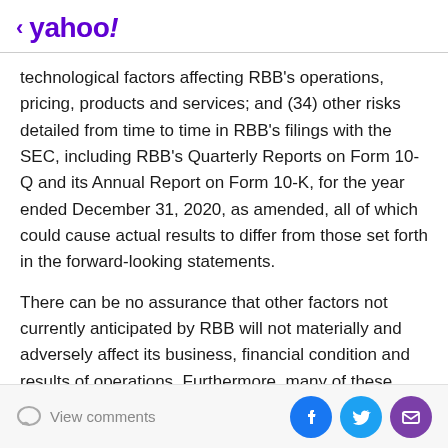< yahoo!
technological factors affecting RBB's operations, pricing, products and services; and (34) other risks detailed from time to time in RBB's filings with the SEC, including RBB's Quarterly Reports on Form 10-Q and its Annual Report on Form 10-K, for the year ended December 31, 2020, as amended, all of which could cause actual results to differ from those set forth in the forward-looking statements.
There can be no assurance that other factors not currently anticipated by RBB will not materially and adversely affect its business, financial condition and results of operations. Furthermore, many of these risks and uncertainties are currently amplified by and may
View comments